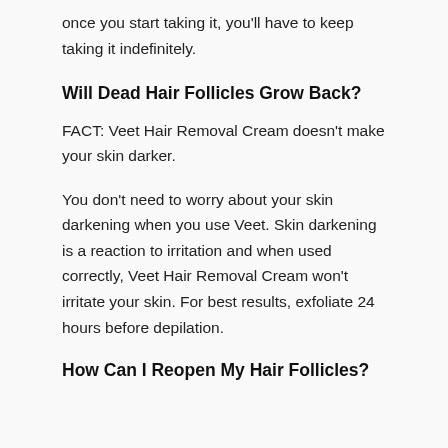once you start taking it, you'll have to keep taking it indefinitely.
Will Dead Hair Follicles Grow Back?
FACT: Veet Hair Removal Cream doesn't make your skin darker.
You don't need to worry about your skin darkening when you use Veet. Skin darkening is a reaction to irritation and when used correctly, Veet Hair Removal Cream won't irritate your skin. For best results, exfoliate 24 hours before depilation.
How Can I Reopen My Hair Follicles?